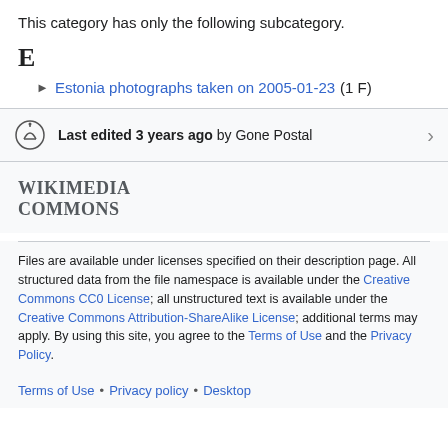This category has only the following subcategory.
E
Estonia photographs taken on 2005-01-23 (1 F)
Last edited 3 years ago by Gone Postal
WIKIMEDIA COMMONS
Files are available under licenses specified on their description page. All structured data from the file namespace is available under the Creative Commons CC0 License; all unstructured text is available under the Creative Commons Attribution-ShareAlike License; additional terms may apply. By using this site, you agree to the Terms of Use and the Privacy Policy.
Terms of Use • Privacy policy • Desktop